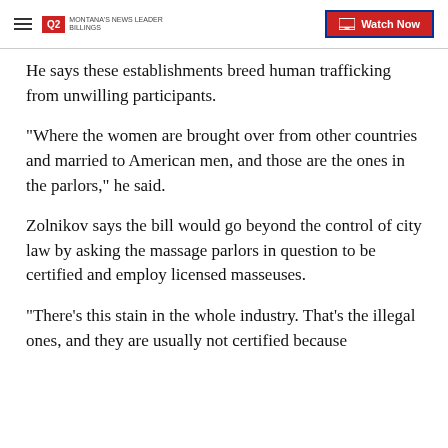Q2 MONTANA'S NEWS LEADER | Watch Now
He says these establishments breed human trafficking from unwilling participants.
“Where the women are brought over from other countries and married to American men, and those are the ones in the parlors,” he said.
Zolnikov says the bill would go beyond the control of city law by asking the massage parlors in question to be certified and employ licensed masseuses.
“There’s this stain in the whole industry. That’s the illegal ones, and they are usually not certified because